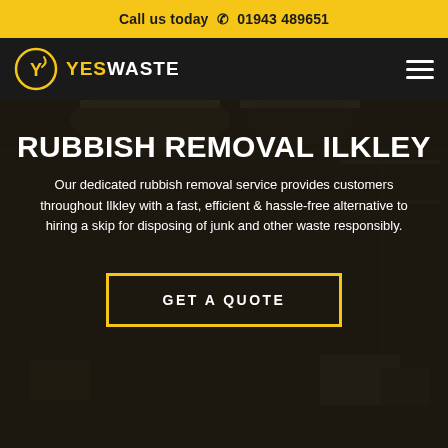Call us today  01943 489651
[Figure (logo): YesWaste logo with circular Y emblem and navigation hamburger menu on dark background]
RUBBISH REMOVAL ILKLEY
Our dedicated rubbish removal service provides customers throughout Ilkley with a fast, efficient & hassle-free alternative to hiring a skip for disposing of junk and other waste responsibly.
GET A QUOTE